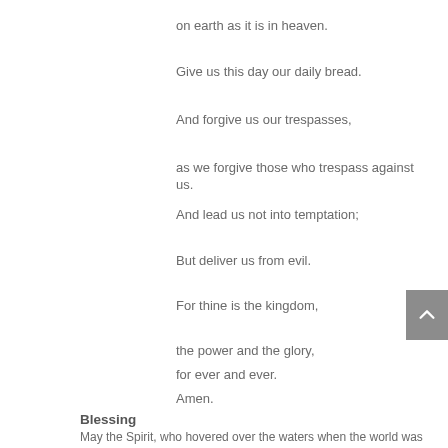on earth as it is in heaven.
Give us this day our daily bread.
And forgive us our trespasses,
as we forgive those who trespass against us.
And lead us not into temptation;
But deliver us from evil.
For thine is the kingdom,
the power and the glory,
for ever and ever.
Amen.
Blessing
May the Spirit, who hovered over the waters when the world was